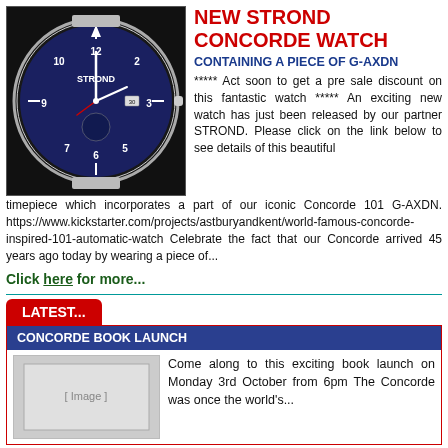[Figure (photo): STROND Concorde pilot watch with blue face on dark background]
NEW STROND CONCORDE WATCH
CONTAINING A PIECE OF G-AXDN
***** Act soon to get a pre sale discount on this fantastic watch ***** An exciting new watch has just been released by our partner STROND. Please click on the link below to see details of this beautiful timepiece which incorporates a part of our iconic Concorde 101 G-AXDN. https://www.kickstarter.com/projects/astburyandkent/world-famous-concorde-inspired-101-automatic-watch Celebrate the fact that our Concorde arrived 45 years ago today by wearing a piece of...
Click here for more...
LATEST...
CONCORDE BOOK LAUNCH
[Figure (photo): Concorde book cover placeholder image]
Come along to this exciting book launch on Monday 3rd October from 6pm The Concorde was once the world's...